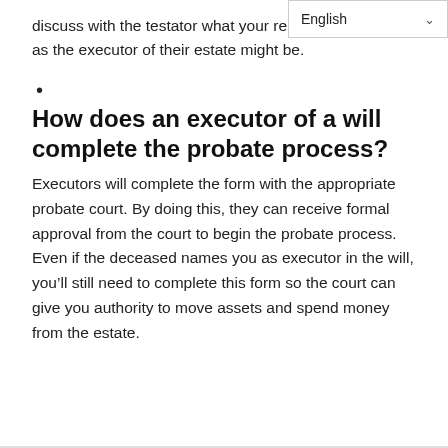discuss with the testator what your re as the executor of their estate might be.
•
How does an executor of a will complete the probate process?
Executors will complete the form with the appropriate probate court. By doing this, they can receive formal approval from the court to begin the probate process. Even if the deceased names you as executor in the will, you'll still need to complete this form so the court can give you authority to move assets and spend money from the estate.